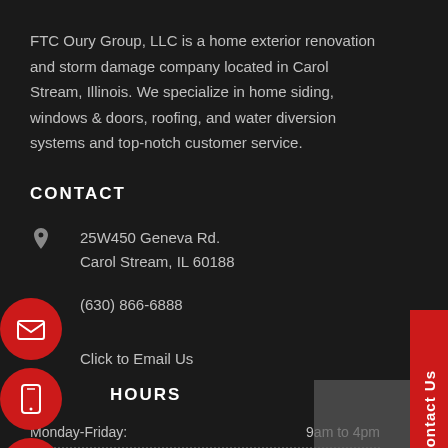FTC Oury Group, LLC is a home exterior renovation and storm damage company located in Carol Stream, Illinois. We specialize in home siding, windows & doors, roofing, and water diversion systems and top-notch customer service.
CONTACT
25W450 Geneva Rd.
Carol Stream, IL 60188
(630) 866-6888
Click to Email Us
HOURS
Monday-Friday: 9am to 4pm
Saturday: By Appointment Only